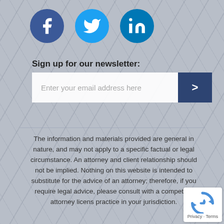[Figure (other): Three social media icons: Facebook (dark blue circle with 'f'), Twitter (light blue circle with bird), LinkedIn (teal/blue circle with 'in')]
Sign up for our newsletter:
[Figure (other): Email newsletter signup form with text field placeholder 'Enter your email address here' and a dark blue submit button with '>']
The information and materials provided are general in nature, and may not apply to a specific factual or legal circumstance. An attorney and client relationship should not be implied. Nothing on this website is intended to substitute for the advice of an attorney; therefore, if you require legal advice, please consult with a competent attorney licensed to practice in your jurisdiction.
[Figure (logo): Google reCAPTCHA badge with recycling-style arrow logo and 'Privacy · Terms' text]